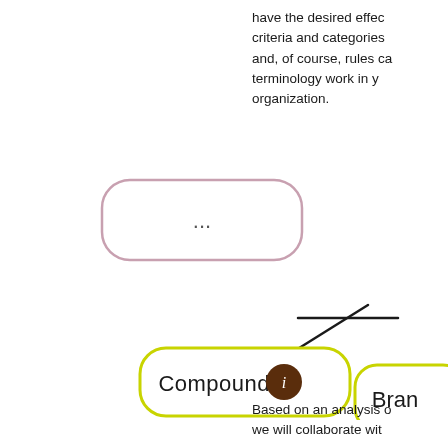have the desired effec criteria and categories and, of course, rules ca terminology work in y organization.
[Figure (flowchart): Partial flowchart showing a rounded rectangle with '...' in pink/mauve outline on the left side, a horizontal black line connector in the center-right, a diagonal arrow/line pointing to a yellow-green outlined rounded rectangle labeled 'Compounds' with a dark brown info circle icon, and a partially visible yellow-green rounded rectangle labeled 'Bran...' on the far right.]
Based on an analysis o we will collaborate wit